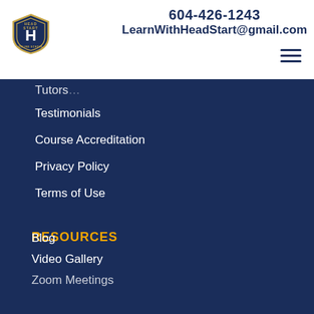[Figure (logo): Head Start Online School shield logo with 'H' emblem]
604-426-1243
LearnWithHeadStart@gmail.com
Testimonials
Course Accreditation
Privacy Policy
Terms of Use
RESOURCES
Blog
Video Gallery
Zoom Meetings